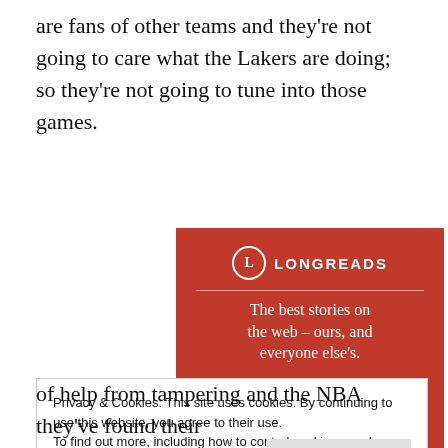are fans of other teams and they're not going to care what the Lakers are doing; so they're not going to tune into those games.
[Figure (other): Longreads advertisement banner with red background. Shows the Longreads logo (circle with L), tagline 'The best stories on the web – ours, and everyone else's.' and a 'Start reading' button.]
Privacy & Cookies: This site uses cookies. By continuing to use this website, you agree to their use.
To find out more, including how to control cookies, see here: Cookie Policy
of help from tampering and the NBA they've found their